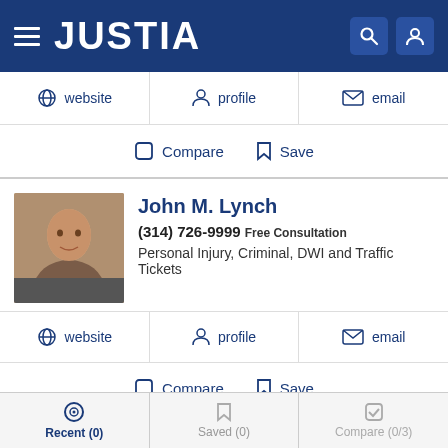JUSTIA
website | profile | email
Compare | Save
John M. Lynch
(314) 726-9999 Free Consultation
Personal Injury, Criminal, DWI and Traffic Tickets
website | profile | email
Compare | Save
Cynthia Trice
Recent (0) | Saved (0) | Compare (0/3)